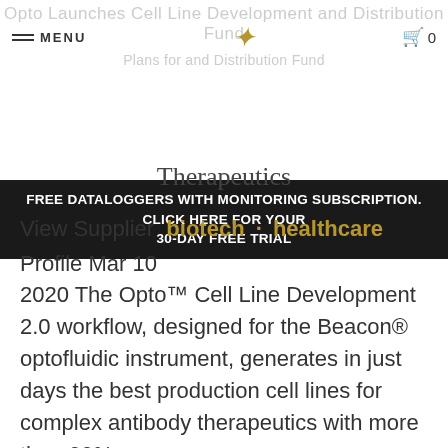Opto Launches Cell Line Development and Distribution Fund
FREE DATALOGGERS WITH MONITORING SUBSCRIPTION. CLICK HERE FOR YOUR 30-DAY FREE TRIAL
Therapeutics
View Supplier  biotech · healthcare
Profile Mar 10
2020 The Opto™ Cell Line Development 2.0 workflow, designed for the Beacon® optofluidic instrument, generates in just days the best production cell lines for complex antibody therapeutics with more than 99%